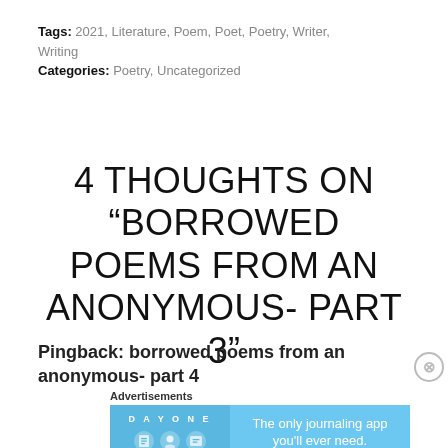Tags: 2021, Literature, Poem, Poet, Poetry, Writer, Writing
Categories: Poetry, Uncategorized
4 THOUGHTS ON “BORROWED POEMS FROM AN ANONYMOUS- PART 3”
Pingback: borrowed poems from an anonymous- part 4
Advertisements
DAY ONE
The only journaling app you’ll ever need.